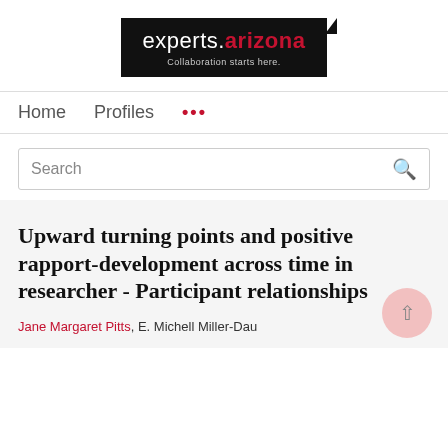[Figure (logo): experts.arizona logo on black background with tagline 'Collaboration starts here.']
Home   Profiles   ...
Search
Upward turning points and positive rapport-development across time in researcher - Participant relationships
Jane Margaret Pitts, E. Michell Miller-Dau